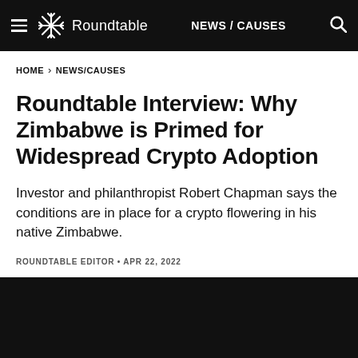Roundtable NEWS / CAUSES
HOME › NEWS/CAUSES
Roundtable Interview: Why Zimbabwe is Primed for Widespread Crypto Adoption
Investor and philanthropist Robert Chapman says the conditions are in place for a crypto flowering in his native Zimbabwe.
ROUNDTABLE EDITOR • APR 22, 2022